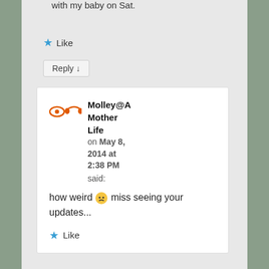with my baby on Sat.
★ Like
Reply ↓
Molley@A Mother Life on May 8, 2014 at 2:38 PM said:
how weird 😕 miss seeing your updates...
★ Like